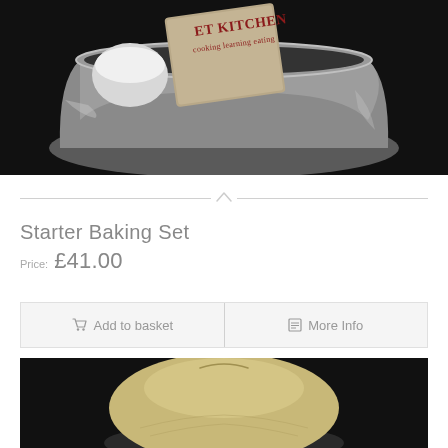[Figure (photo): A stainless steel bucket/bowl containing kitchen items with a cloth or apron reading 'ET KITCHEN cooking learning eating' in red text, photographed against a dark background.]
Starter Baking Set
Price: £41.00
Add to basket | More Info
[Figure (photo): A round light-colored bread dough or banneton proofing basket photographed from above against a dark background.]